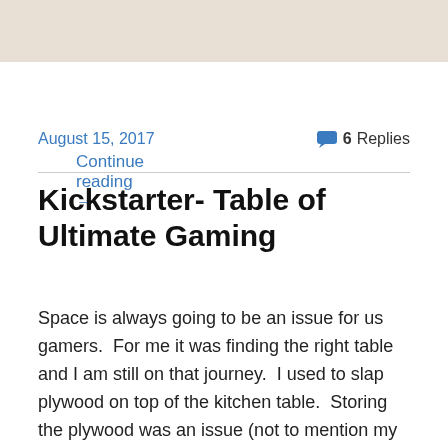[Figure (photo): Partial image at top of page, beige/tan colored background, cropped]
Continue reading →
August 15, 2017
6 Replies
Kickstarter- Table of Ultimate Gaming
Space is always going to be an issue for us gamers.  For me it was finding the right table and I am still on that journey.  I used to slap plywood on top of the kitchen table.  Storing the plywood was an issue (not to mention my wife hated it).  My next stop was two folding tables that I could put side by side.  Not bad but the fold in the middle